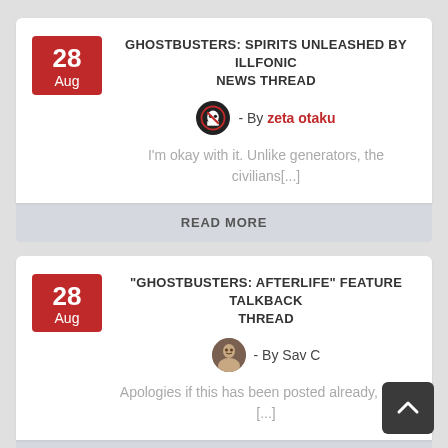GHOSTBUSTERS: SPIRITS UNLEASHED BY ILLFONIC NEWS THREAD
- By zeta otaku
I'm okay with it. Unlike generators, the civilians[...]
READ MORE
"GHOSTBUSTERS: AFTERLIFE" FEATURE TALKBACK THREAD
- By Sav C
Apologies if this has been posted already, but it [...]
READ MORE